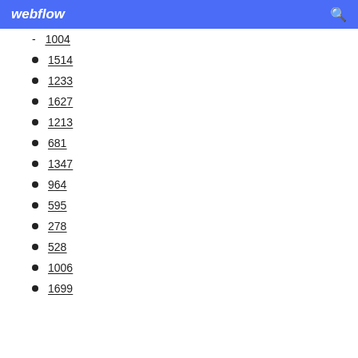webflow
1004
1514
1233
1627
1213
681
1347
964
595
278
528
1006
1699